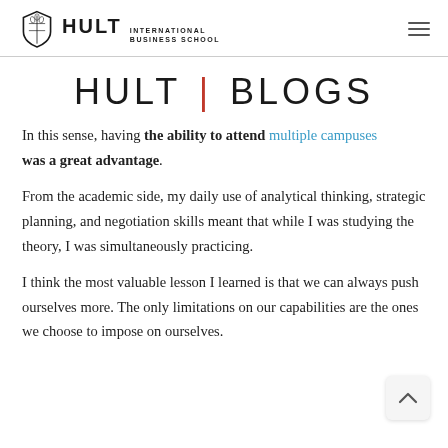HULT INTERNATIONAL BUSINESS SCHOOL
HULT | BLOGS
In this sense, having the ability to attend multiple campuses was a great advantage.
From the academic side, my daily use of analytical thinking, strategic planning, and negotiation skills meant that while I was studying the theory, I was simultaneously practicing.
I think the most valuable lesson I learned is that we can always push ourselves more. The only limitations on our capabilities are the ones we choose to impose on ourselves.